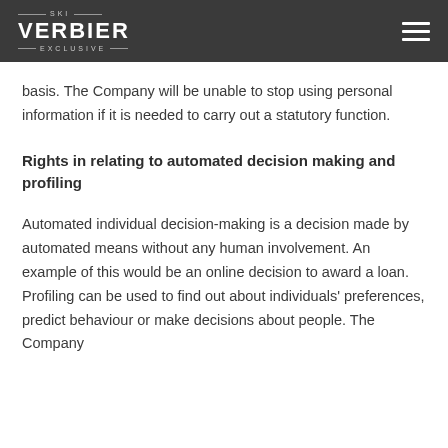SKI VERBIER EXCLUSIVE
basis. The Company will be unable to stop using personal information if it is needed to carry out a statutory function.
Rights in relating to automated decision making and profiling
Automated individual decision-making is a decision made by automated means without any human involvement. An example of this would be an online decision to award a loan. Profiling can be used to find out about individuals' preferences, predict behaviour or make decisions about people. The Company